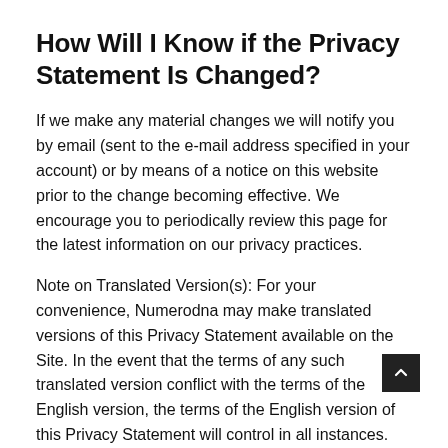How Will I Know if the Privacy Statement Is Changed?
If we make any material changes we will notify you by email (sent to the e-mail address specified in your account) or by means of a notice on this website prior to the change becoming effective. We encourage you to periodically review this page for the latest information on our privacy practices.
Note on Translated Version(s): For your convenience, Numerodna may make translated versions of this Privacy Statement available on the Site. In the event that the terms of any such translated version conflict with the terms of the English version, the terms of the English version of this Privacy Statement will control in all instances.